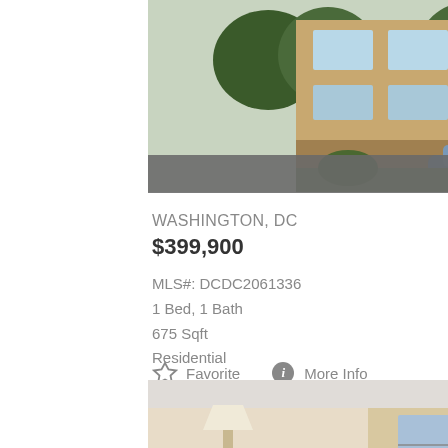[Figure (photo): Exterior photo of a modern brick apartment building with trees, taken from street level. A car is parked in front.]
355 I St Sw #522
WASHINGTON, DC
$399,900
MLS#: DCDC2061336
1 Bed, 1 Bath
675 Sqft
Residential
Favorite   More Info
[Figure (photo): Interior photo of a living room with warm beige/yellow walls, artwork on wall, lamp, and window with view of building exterior.]